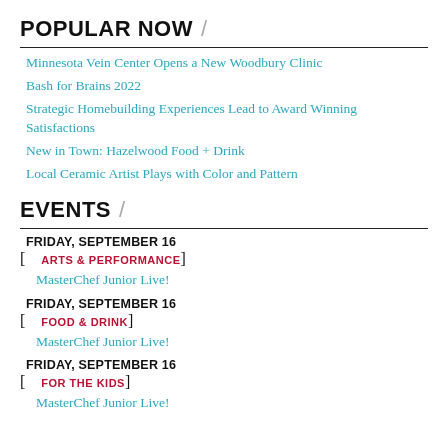POPULAR NOW
Minnesota Vein Center Opens a New Woodbury Clinic
Bash for Brains 2022
Strategic Homebuilding Experiences Lead to Award Winning Satisfactions
New in Town: Hazelwood Food + Drink
Local Ceramic Artist Plays with Color and Pattern
EVENTS
FRIDAY, SEPTEMBER 16
[ARTS & PERFORMANCE]
MasterChef Junior Live!
FRIDAY, SEPTEMBER 16
[FOOD & DRINK]
MasterChef Junior Live!
FRIDAY, SEPTEMBER 16
[FOR THE KIDS]
MasterChef Junior Live!